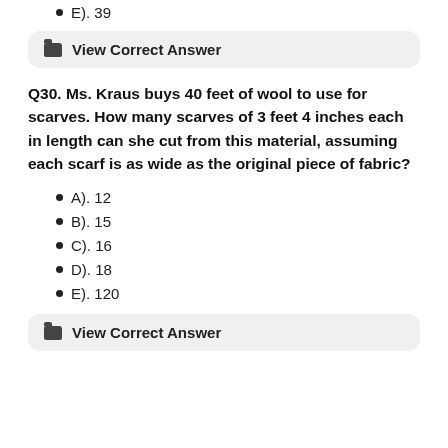E). 39
View Correct Answer
Q30. Ms. Kraus buys 40 feet of wool to use for scarves. How many scarves of 3 feet 4 inches each in length can she cut from this material, assuming each scarf is as wide as the original piece of fabric?
A). 12
B). 15
C). 16
D). 18
E). 120
View Correct Answer